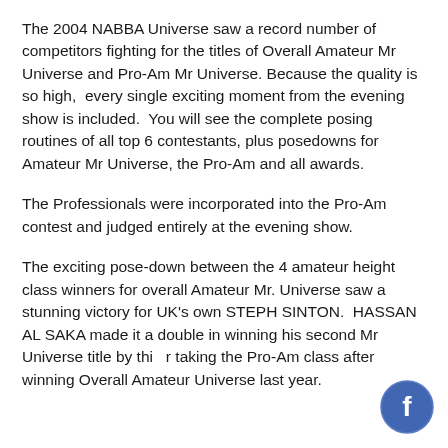The 2004 NABBA Universe saw a record number of competitors fighting for the titles of Overall Amateur Mr Universe and Pro-Am Mr Universe. Because the quality is so high,  every single exciting moment from the evening show is included.  You will see the complete posing routines of all top 6 contestants, plus posedowns for Amateur Mr Universe, the Pro-Am and all awards.
The Professionals were incorporated into the Pro-Am contest and judged entirely at the evening show.
The exciting pose-down between the 4 amateur height class winners for overall Amateur Mr. Universe saw a stunning victory for UK's own STEPH SINTON.  HASSAN AL SAKA made it a double in winning his second Mr Universe title by this year taking the Pro-Am class after winning Overall Amateur Universe last year.
[Figure (logo): Facebook logo icon — circular blue background with white lowercase 'f']